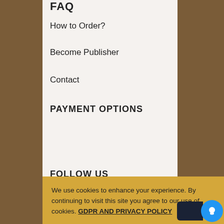FAQ
How to Order?
Become Publisher
Contact
PAYMENT OPTIONS
FOLLOW US
[Figure (logo): Facebook, LinkedIn, and Twitter social media icons in dark navy square rounded buttons]
We use cookies to enhance your experience. By continuing to visit this site you agree to our use of cookies. GDPR AND PRIVACY POLICY